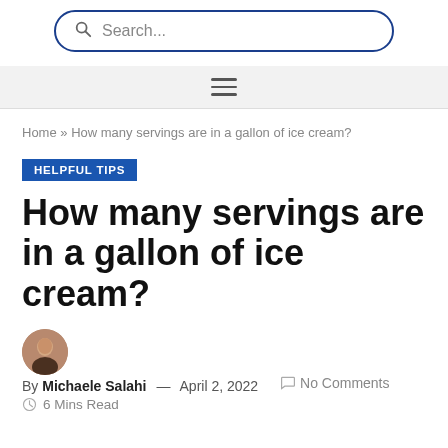Search...
Home » How many servings are in a gallon of ice cream?
HELPFUL TIPS
How many servings are in a gallon of ice cream?
By Michaele Salahi — April 2, 2022   No Comments   6 Mins Read